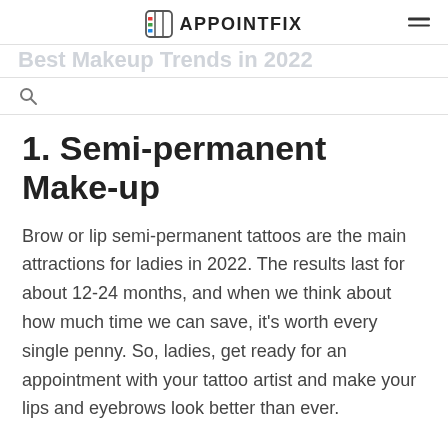APPOINTFIX
Best Makeup Trends in 2022
1. Semi-permanent Make-up
Brow or lip semi-permanent tattoos are the main attractions for ladies in 2022. The results last for about 12-24 months, and when we think about how much time we can save, it's worth every single penny. So, ladies, get ready for an appointment with your tattoo artist and make your lips and eyebrows look better than ever.